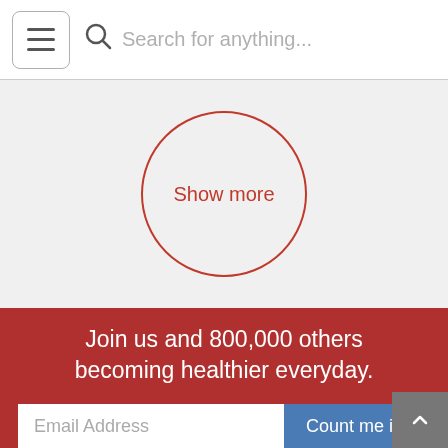Navigation bar with hamburger menu, search icon, and search placeholder 'Search for anything...'
[Figure (other): A circular outlined button with red border and red text reading 'Show more' on a light grey background]
Join us and 800,000 others becoming healthier everyday.
Email Address
Count me in!